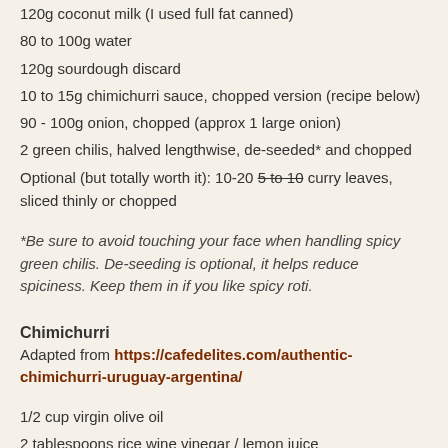120g coconut milk (I used full fat canned)
80 to 100g water
120g sourdough discard
10 to 15g chimichurri sauce, chopped version (recipe below)
90 - 100g onion, chopped (approx 1 large onion)
2 green chilis, halved lengthwise, de-seeded* and chopped
Optional (but totally worth it): 10-20 5 to 10 curry leaves, sliced thinly or chopped
*Be sure to avoid touching your face when handling spicy green chilis. De-seeding is optional, it helps reduce spiciness. Keep them in if you like spicy roti.
Chimichurri
Adapted from https://cafedelites.com/authentic-chimichurri-uruguay-argentina/
1/2 cup virgin olive oil
2 tablespoons rice wine vinegar / lemon juice
1/2 cup parsley, flat leafed, chopped
6 to 8 cloves garlic, finely chopped or minced